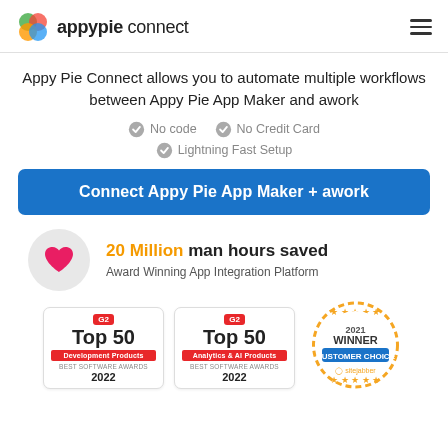appypie connect
Appy Pie Connect allows you to automate multiple workflows between Appy Pie App Maker and awork
No code
No Credit Card
Lightning Fast Setup
Connect Appy Pie App Maker + awork
20 Million man hours saved
Award Winning App Integration Platform
[Figure (infographic): Three award badges: G2 Top 50 Development Products Best Software Awards 2022, G2 Top 50 Analytics & AI Products Best Software Awards 2022, and 2021 Winner Customer Choice Sitejabber badge]